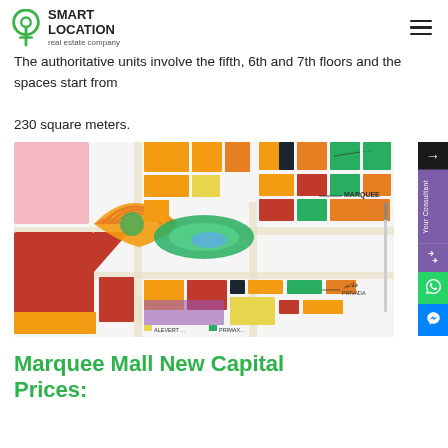Smart Location real estate company
The authoritative units involve the fifth, 6th and 7th floors and the spaces start from 230 square meters.
[Figure (map): Color-coded site plan/map of Marquee Mall New Capital showing various zones in orange, yellow, green, red, pink, blue, and purple colors with labels including MARQUEE]
Marquee Mall New Capital Prices: